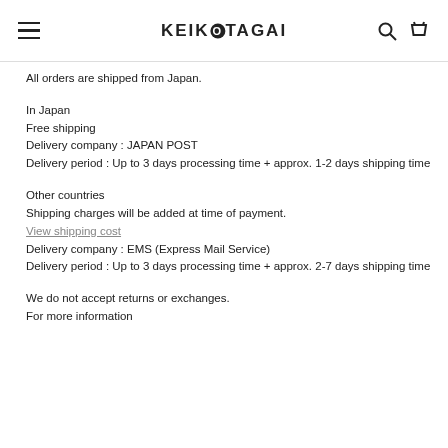KEIKOTAGAI
All orders are shipped from Japan.
In Japan
Free shipping
Delivery company : JAPAN POST
Delivery period : Up to 3 days processing time + approx. 1-2 days shipping time
Other countries
Shipping charges will be added at time of payment.
View shipping cost
Delivery company : EMS (Express Mail Service)
Delivery period : Up to 3 days processing time + approx. 2-7 days shipping time
We do not accept returns or exchanges.
For more information